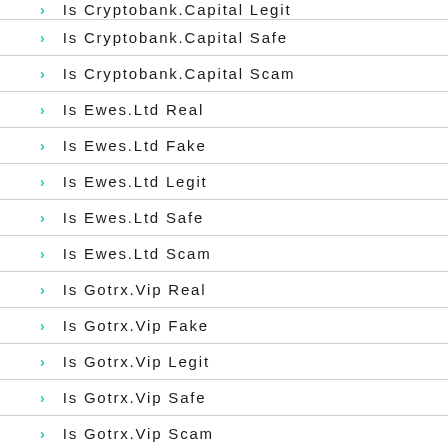Is Cryptobank.Capital Legit
Is Cryptobank.Capital Safe
Is Cryptobank.Capital Scam
Is Ewes.Ltd Real
Is Ewes.Ltd Fake
Is Ewes.Ltd Legit
Is Ewes.Ltd Safe
Is Ewes.Ltd Scam
Is Gotrx.Vip Real
Is Gotrx.Vip Fake
Is Gotrx.Vip Legit
Is Gotrx.Vip Safe
Is Gotrx.Vip Scam
Is Heartcbx Real